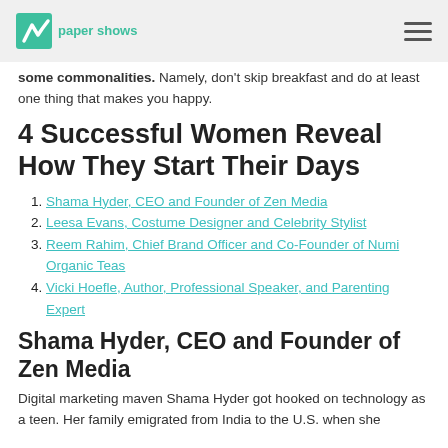We asked four successful women how they start their days and set things in motion. And while there's no "right" way, we did notice some commonalities. Namely, don't skip breakfast and do at least one thing that makes you happy.
paper shows
4 Successful Women Reveal How They Start Their Days
Shama Hyder, CEO and Founder of Zen Media
Leesa Evans, Costume Designer and Celebrity Stylist
Reem Rahim, Chief Brand Officer and Co-Founder of Numi Organic Teas
Vicki Hoefle, Author, Professional Speaker, and Parenting Expert
Shama Hyder, CEO and Founder of Zen Media
Digital marketing maven Shama Hyder got hooked on technology as a teen. Her family emigrated from India to the U.S. when she